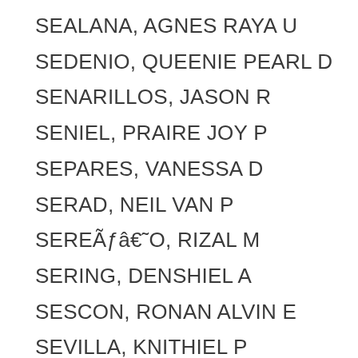SEALANA, AGNES RAYA U
SEDENIO, QUEENIE PEARL D
SENARILLOS, JASON R
SENIEL, PRAIRE JOY P
SEPARES, VANESSA D
SERAD, NEIL VAN P
SEREÃƒâ€˜O, RIZAL M
SERING, DENSHIEL A
SESCON, RONAN ALVIN E
SEVILLA, KNITHIEL P
SIALONGA, LLOYD PAUL E
SIAN, BRITZIE S
SIAN, RAMON ANTONIO H
SICAM, EMMANUEL ALPHA D
SIJUELA, MARY GRACE L
SILANOVA, KLEA J
SILLADA, ALLEN DELA VEGA